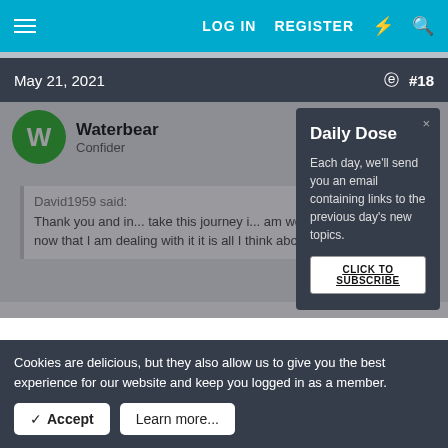LOG IN   REGISTER
May 21, 2021   #18
Waterbear
Confider
David1959 said:
Thank you and in... take this journey i... am worse. When... and now that I am dealing with it it is all I think about :(
Daily Dose
Each day, we'll send you an email containing links to the previous day's new topics.
CLICK TO SUBSCRIBE
Cookies are delicious, but they also allow us to give you the best experience for our website and keep you logged in as a member.
✓ Accept   Learn more...